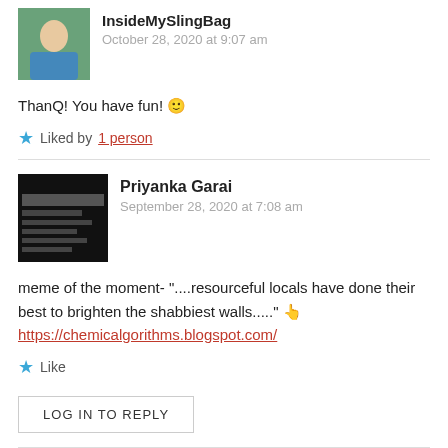InsideMySlingBag
October 28, 2020 at 9:07 am
ThanQ! You have fun! 🙂
★ Liked by 1 person
Priyanka Garai
September 28, 2020 at 7:08 am
meme of the moment- "....resourceful locals have done their best to brighten the shabbiest walls....." 👉 https://chemicalgorithms.blogspot.com/
★ Like
LOG IN TO REPLY